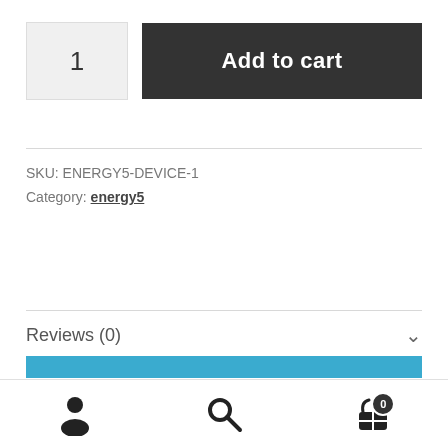1  Add to cart
SKU: ENERGY5-DEVICE-1
Category: energy5
Reviews (0)
Reviews
[Figure (other): Blue horizontal bar (scrollbar or progress indicator)]
[Figure (other): Bottom navigation bar with user icon, search icon, and cart icon showing badge 0]